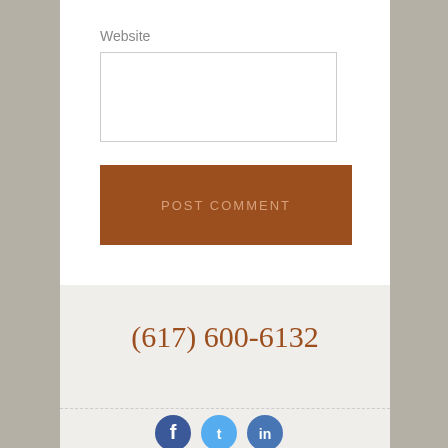Website
[Figure (screenshot): Website input text field (empty)]
[Figure (screenshot): POST COMMENT button in brown/rust color]
(617) 600-6132
[Figure (screenshot): Social media icons: Facebook, Twitter, LinkedIn]